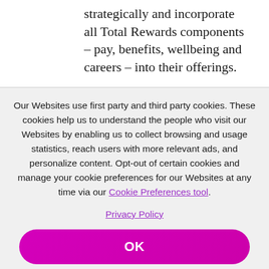strategically and incorporate all Total Rewards components – pay, benefits, wellbeing and careers – into their offerings.
Our Websites use first party and third party cookies. These cookies help us to understand the people who visit our Websites by enabling us to collect browsing and usage statistics, reach users with more relevant ads, and personalize content. Opt-out of certain cookies and manage your cookie preferences for our Websites at any time via our Cookie Preferences tool.
Privacy Policy
OK